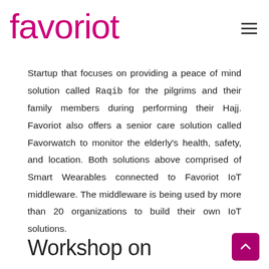favoriot
Startup that focuses on providing a peace of mind solution called Raqib for the pilgrims and their family members during performing their Hajj. Favoriot also offers a senior care solution called Favorwatch to monitor the elderly's health, safety, and location. Both solutions above comprised of Smart Wearables connected to Favoriot IoT middleware. The middleware is being used by more than 20 organizations to build their own IoT solutions.
Workshop on